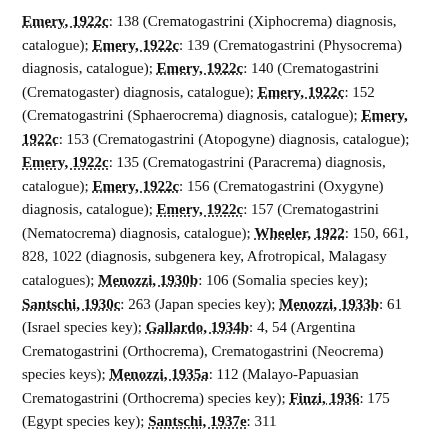Emery, 1922c: 138 (Crematogastrini (Xiphocrema) diagnosis, catalogue); Emery, 1922c: 139 (Crematogastrini (Physocrema) diagnosis, catalogue); Emery, 1922c: 140 (Crematogastrini (Crematogaster) diagnosis, catalogue); Emery, 1922c: 152 (Crematogastrini (Sphaerocrema) diagnosis, catalogue); Emery, 1922c: 153 (Crematogastrini (Atopogyne) diagnosis, catalogue); Emery, 1922c: 135 (Crematogastrini (Paracrema) diagnosis, catalogue); Emery, 1922c: 156 (Crematogastrini (Oxygyne) diagnosis, catalogue); Emery, 1922c: 157 (Crematogastrini (Nematocrema) diagnosis, catalogue); Wheeler, 1922: 150, 661, 828, 1022 (diagnosis, subgenera key, Afrotropical, Malagasy catalogues); Menozzi, 1930b: 106 (Somalia species key); Santschi, 1930c: 263 (Japan species key); Menozzi, 1933b: 61 (Israel species key); Gallardo, 1934b: 4, 54 (Argentina Crematogastrini (Orthocrema), Crematogastrini (Neocrema) species keys); Menozzi, 1935a: 112 (Malayo-Papuasian Crematogastrini (Orthocrema) species key); Finzi, 1936: 175 (Egypt species key); Santschi, 1937e: 311